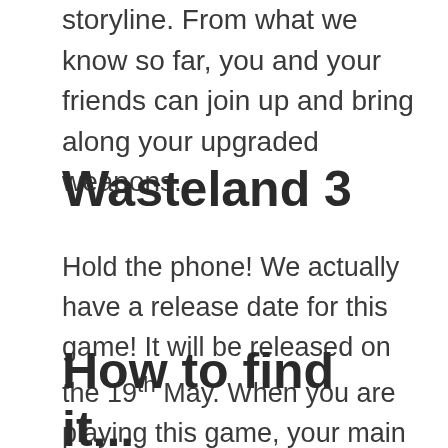storyline. From what we know so far, you and your friends can join up and bring along your upgraded weapons.
Wasteland 3
Hold the phone! We actually have a release date for this game! It will be released on the 19th May. When you are playing this game, your main aim is to keep a group of people alive in a harsh world that humans struggle to survive in. You have to build bases, battle enemies, and train new recruits. However, you do not have to do all of this hard work by yourself as your friends can join you.
How to find it...